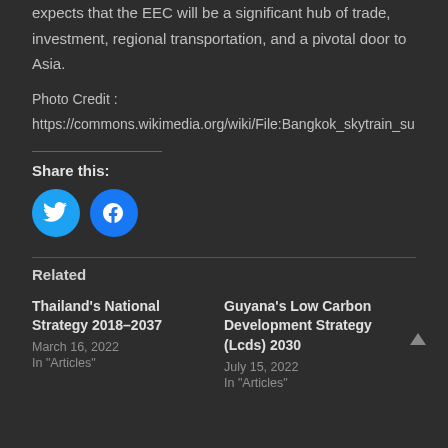investment and economic growth and completely expects that the EEC will be a significant hub of trade, investment, regional transportation, and a pivotal door to Asia.
Photo Credit :
https://commons.wikimedia.org/wiki/File:Bangkok_skytrain_su
Share this:
[Figure (other): Twitter and Facebook share buttons (circular blue icons)]
Related
Thailand's National Strategy 2018–2037
March 16, 2022
In "Articles"
Guyana's Low Carbon Development Strategy (Lcds) 2030
July 15, 2022
In "Articles"